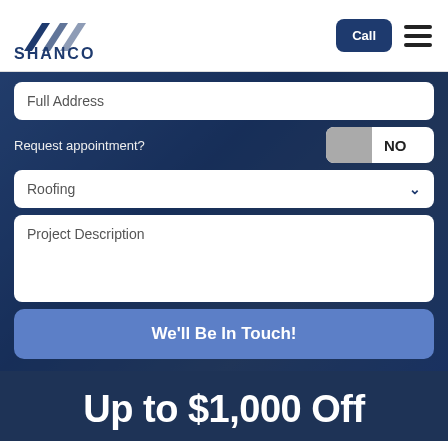[Figure (logo): Shanco company logo with triangular mountain-like icon and SHANCO text in dark navy blue]
Call
[Figure (illustration): Hamburger menu icon with three horizontal lines]
Full Address
Request appointment?
NO
Roofing
Project Description
We'll Be In Touch!
Up to $1,000 Off